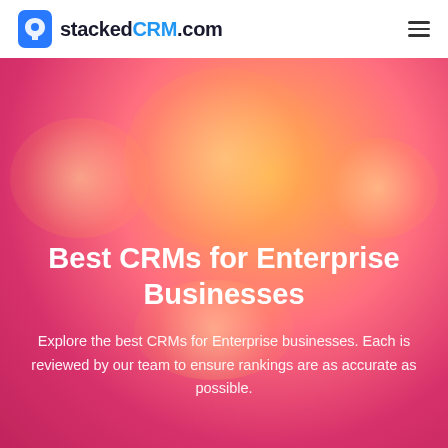stackedCRM.com
Best CRMs for Enterprise Businesses
Explore the best CRMs for Enterprise businesses. Each is reviewed by our team to ensure rankings are as accurate as possible.